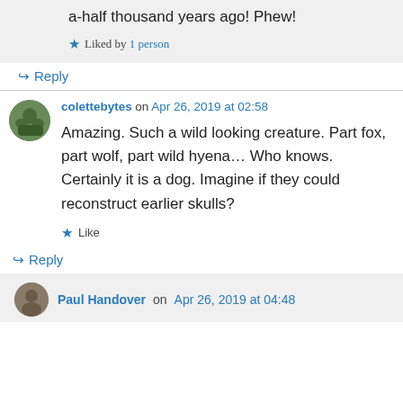a-half thousand years ago! Phew!
★ Liked by 1 person
↪ Reply
colettebytes on Apr 26, 2019 at 02:58
Amazing. Such a wild looking creature. Part fox, part wolf, part wild hyena… Who knows. Certainly it is a dog. Imagine if they could reconstruct earlier skulls?
★ Like
↪ Reply
Paul Handover on Apr 26, 2019 at 04:48